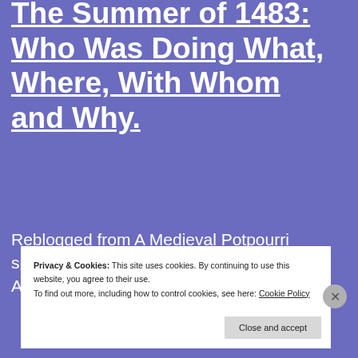The Summer of 1483: Who Was Doing What, Where, With Whom and Why.
Reblogged from A Medieval Potpourri sparkypus.com Today a guest post from Annette Carson, author of many excellent b… T…
Privacy & Cookies: This site uses cookies. By continuing to use this website, you agree to their use. To find out more, including how to control cookies, see here: Cookie Policy
Close and accept